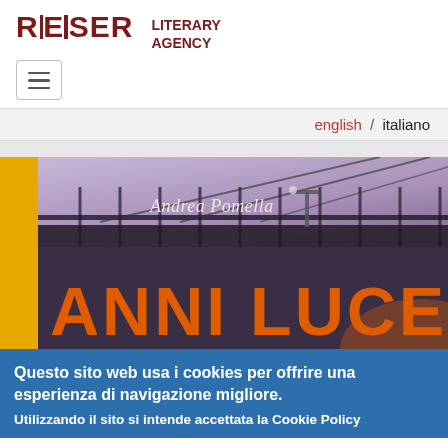REISER LITERARY AGENCY
english / italiano
[Figure (photo): Book cover image for 'Anni Luce' by Andrea Pomella, showing a bridge structure against a purple/mauve sky, with a yellow vertical bar on the left and large orange text 'ANNI LUCE' at the bottom]
Questo sito web usa i cookies per offrire una esperienza di navigazione migliore. Utilizzando il sito si intende accettata la Cookie Policy